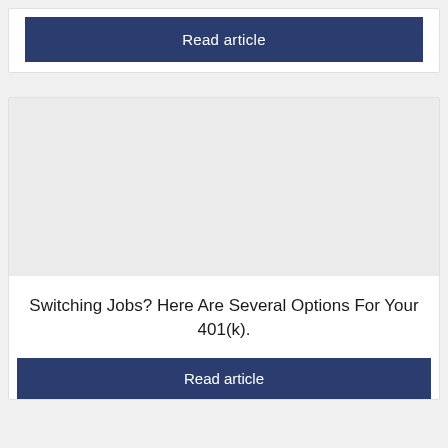Read article
[Figure (photo): Empty image placeholder (light gray rectangle) for an article about switching jobs and 401(k) options]
Switching Jobs? Here Are Several Options For Your 401(k).
Read article